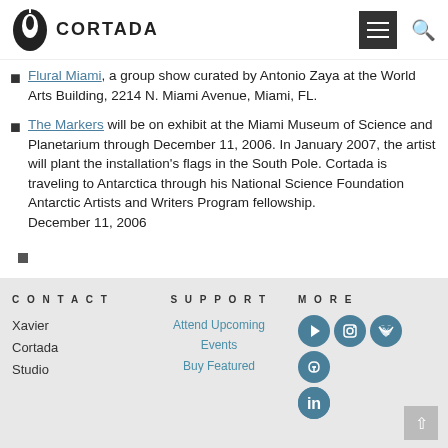CORTADA
Flural Miami, a group show curated by Antonio Zaya at the World Arts Building, 2214 N. Miami Avenue, Miami, FL.
The Markers will be on exhibit at the Miami Museum of Science and Planetarium through December 11, 2006. In January 2007, the artist will plant the installation's flags in the South Pole. Cortada is traveling to Antarctica through his National Science Foundation Antarctic Artists and Writers Program fellowship.
December 11, 2006
CONTACT | Xavier Cortada Studio | SUPPORT | Attend Upcoming Events | Buy Featured | MORE | social icons